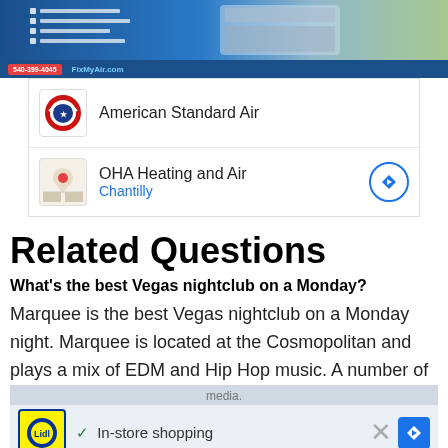[Figure (screenshot): Advertisement banner for HVAC services showing a building exterior with blue sky background, with a red phone number bar at bottom reading '540-399-4045 FixMyAir.com']
[Figure (screenshot): Google Ads card for 'American Standard Air' with logo icon]
[Figure (screenshot): Google Ads card for 'OHA Heating and Air' with location 'Chantilly' shown in blue, with map pin icon and navigation arrow]
Related Questions
What's the best Vegas nightclub on a Monday?
Marquee is the best Vegas nightclub on a Monday night. Marquee is located at the Cosmopolitan and plays a mix of EDM and Hip Hop music. A number of
[Figure (screenshot): Overlay advertisement with Lidl logo, 'In-store shopping' text with checkmark, close X button, and navigation arrow. Below shows play and X icons.]